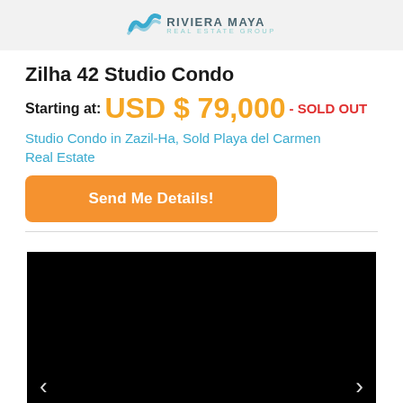RIVIERA MAYA REAL ESTATE GROUP
Zilha 42 Studio Condo
Starting at: USD $ 79,000 - SOLD OUT
Studio Condo in Zazil-Ha, Sold Playa del Carmen Real Estate
[Figure (other): Orange 'Send Me Details!' call-to-action button]
[Figure (photo): Property image slider showing black background with left and right navigation arrows]